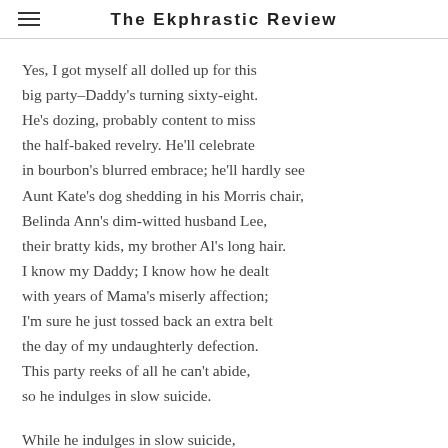The Ekphrastic Review
Yes, I got myself all dolled up for this
big party–Daddy's turning sixty-eight.
He's dozing, probably content to miss
the half-baked revelry.  He'll celebrate
in bourbon's blurred embrace; he'll hardly see
Aunt Kate's dog shedding in his Morris chair,
Belinda Ann's dim-witted husband Lee,
their bratty kids, my brother Al's long hair.
I know my Daddy; I know how he dealt
with years of Mama's miserly affection;
I'm sure he just tossed back an extra belt
the day of my undaughterly defection.
This party reeks of all he can't abide,
so he indulges in slow suicide.

While he indulges in slow suicide,
I save myself, abandoning the heat
of family friction, venturing outside.